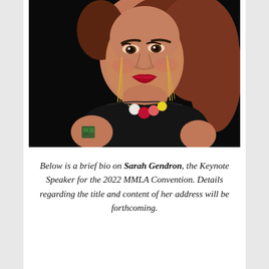[Figure (photo): Portrait photo of Sarah Gendron against a black background. She has reddish-brown hair, red lipstick, long gold drop earrings, a colorful necklace with circular pendants (white, red, pink, yellow), and a black sleeveless top. A small tattoo is visible on her left arm.]
Below is a brief bio on Sarah Gendron, the Keynote Speaker for the 2022 MMLA Convention. Details regarding the title and content of her address will be forthcoming.